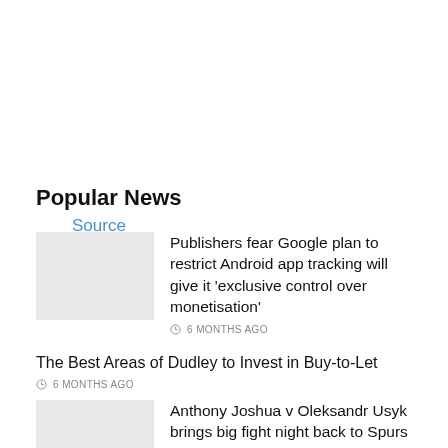Source link
Popular News
Publishers fear Google plan to restrict Android app tracking will give it 'exclusive control over monetisation'
6 MONTHS AGO
The Best Areas of Dudley to Invest in Buy-to-Let
6 MONTHS AGO
Anthony Joshua v Oleksandr Usyk brings big fight night back to Spurs after Bruno v Bugner and Eubank's Watson rematch